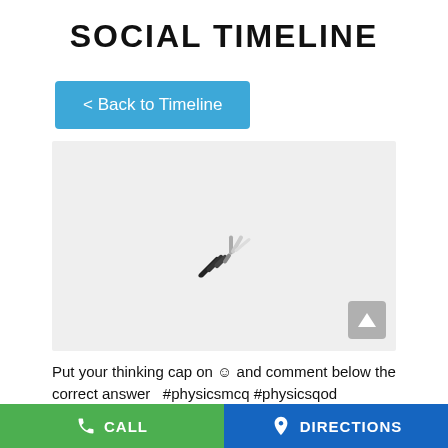SOCIAL TIMELINE
< Back to Timeline
[Figure (screenshot): Loading spinner on a light grey background panel, with a scroll-to-top button in the bottom right corner]
Put your thinking cap on ☺ and comment below the correct answer   #physicsmcq #physicsqod
CALL   DIRECTIONS